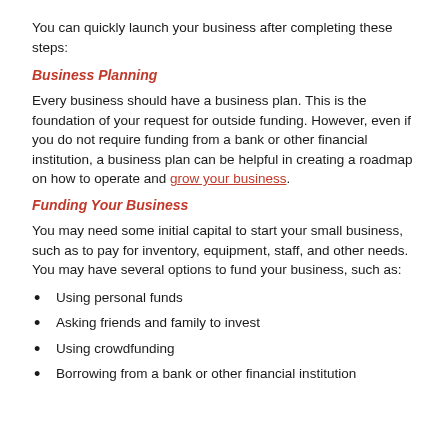You can quickly launch your business after completing these steps:
Business Planning
Every business should have a business plan. This is the foundation of your request for outside funding. However, even if you do not require funding from a bank or other financial institution, a business plan can be helpful in creating a roadmap on how to operate and grow your business.
Funding Your Business
You may need some initial capital to start your small business, such as to pay for inventory, equipment, staff, and other needs. You may have several options to fund your business, such as:
Using personal funds
Asking friends and family to invest
Using crowdfunding
Borrowing from a bank or other financial institution